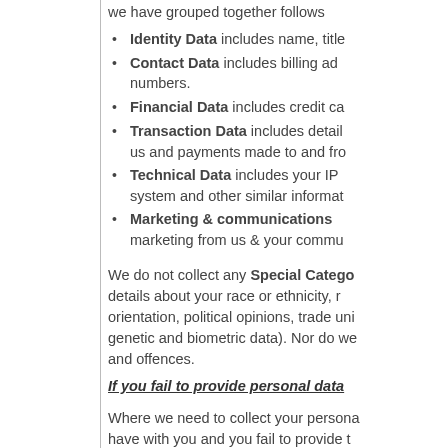we have grouped together follows
Identity Data includes name, title
Contact Data includes billing address, telephone numbers.
Financial Data includes credit card
Transaction Data includes details about us and payments made to and from
Technical Data includes your IP address, system and other similar information
Marketing & communications includes marketing from us & your communications
We do not collect any Special Category details about your race or ethnicity, orientation, political opinions, trade union membership, genetic and biometric data). Nor do we collect information about criminal convictions and offences.
If you fail to provide personal data
Where we need to collect your personal data as part of a contract we have with you and you fail to provide that data, we may not be able to perform the contract we have or are trying to enter into with you (for example, to provide you with goods or services). In this case,